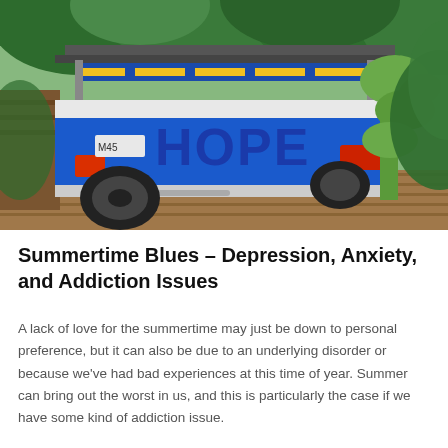[Figure (photo): A blue and yellow tuk-tuk vehicle with the word HOPE written on the back, parked on a wooden deck surrounded by lush green tropical vegetation including a cactus plant on the right side.]
Summertime Blues – Depression, Anxiety, and Addiction Issues
A lack of love for the summertime may just be down to personal preference, but it can also be due to an underlying disorder or because we've had bad experiences at this time of year. Summer can bring out the worst in us, and this is particularly the case if we have some kind of addiction issue.